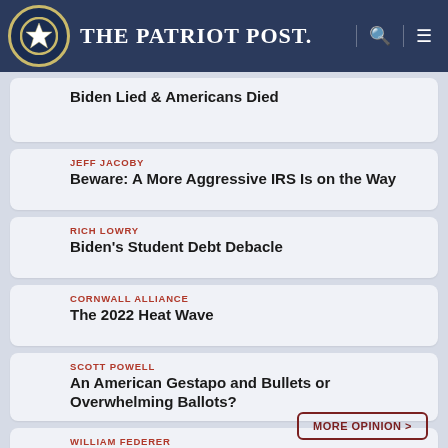The Patriot Post
Biden Lied & Americans Died
Beware: A More Aggressive IRS Is on the Way
Biden's Student Debt Debacle
The 2022 Heat Wave
An American Gestapo and Bullets or Overwhelming Ballots?
Women Can Vote
MORE OPINION >